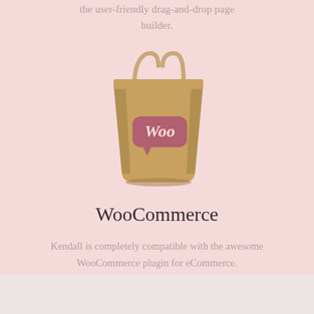the user-friendly drag-and-drop page builder.
[Figure (illustration): A kraft paper shopping bag with the WooCommerce 'Woo' logo printed on it in a dark pink/mauve speech bubble shape.]
WooCommerce
Kendall is completely compatible with the awesome WooCommerce plugin for eCommerce.